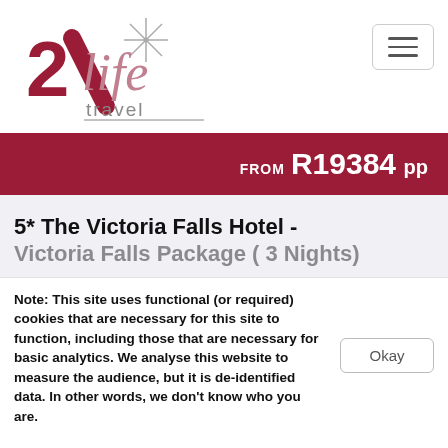[Figure (logo): 2life travel logo — stylized '2life' text with a red slash and grey star]
FROM R19384 pp
5* The Victoria Falls Hotel - Victoria Falls Package ( 3 Nights)
Note: This site uses functional (or required) cookies that are necessary for this site to function, including those that are necessary for basic analytics. We analyse this website to measure the audience, but it is de-identified data. In other words, we don't know who you are.